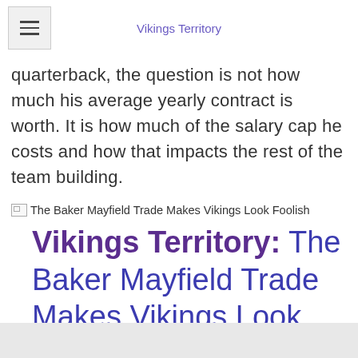Vikings Territory
quarterback, the question is not how much his average yearly contract is worth. It is how much of the salary cap he costs and how that impacts the rest of the team building.
[Figure (other): Broken image placeholder with alt text: The Baker Mayfield Trade Makes Vikings Look Foolish]
Vikings Territory: The Baker Mayfield Trade Makes Vikings Look Foolish